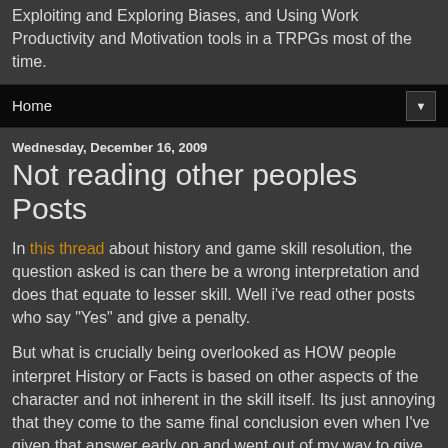Exploiting and Exploring Biases, and Using Work Productivity and Motivation tools in a TRPGs most of the time.
Home
Wednesday, December 16, 2009
Not reading other peoples Posts
In this thread about history and game skill resolution, the question asked is can there be a wrong interpretation and does that equate to lesser skill. Well i've read other posts who say "Yes" and give a penalty.
But what is crucially being overlooked as HOW people interpret History or Facts is based on other aspects of the character and not inherent in the skill itself. Its just annoying that they come to the same final conclusion even when I've given that answer early on and went out of my way to give concise examples.